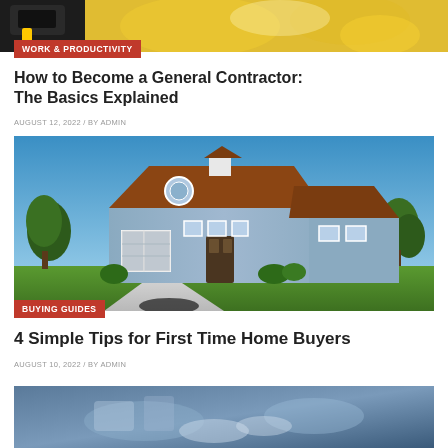[Figure (photo): Top cropped photo showing a power tool (drill/toolbox) with yellow background]
WORK & PRODUCTIVITY
How to Become a General Contractor: The Basics Explained
AUGUST 12, 2022 / BY ADMIN
[Figure (photo): Photo of a large blue and white craftsman-style house with brown roof, garage doors, green trees, and driveway]
BUYING GUIDES
4 Simple Tips for First Time Home Buyers
AUGUST 10, 2022 / BY ADMIN
[Figure (photo): Bottom partially visible photo, appears to show hands or objects, partially cut off]